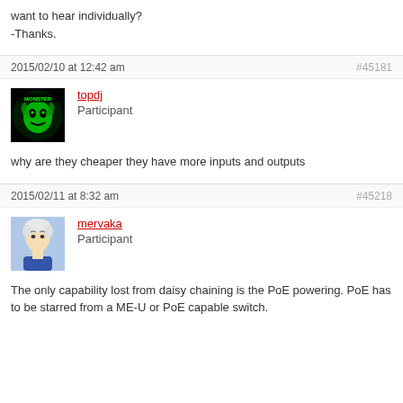want to hear individually?
-Thanks.
2015/02/10 at 12:42 am
#45181
topdj
Participant
why are they cheaper they have more inputs and outputs
2015/02/11 at 8:32 am
#45218
mervaka
Participant
The only capability lost from daisy chaining is the PoE powering. PoE has to be starred from a ME-U or PoE capable switch.